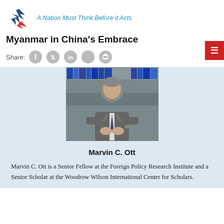A Nation Must Think Before it Acts
Myanmar in China’s Embrace
[Figure (other): Share icons row: Facebook, Twitter, LinkedIn, a grey circle icon, and a print icon]
[Figure (photo): Portrait photo of Marvin C. Ott, a man in a grey suit and striped tie, seated in what appears to be a library setting]
Marvin C. Ott
Marvin C. Ott is a Senior Fellow at the Foreign Policy Research Institute and a Senior Scholar at the Woodrow Wilson International Center for Scholars.